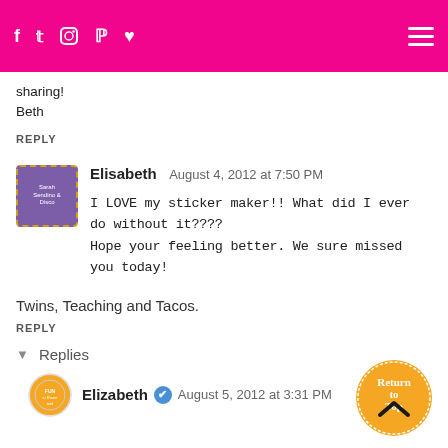Navigation bar with social icons and hamburger menu
sharing!
Beth
REPLY
Elisabeth  August 4, 2012 at 7:50 PM
I LOVE my sticker maker!! What did I ever do without it???? Hope your feeling better. We sure missed you today!
Twins, Teaching and Tacos.
REPLY
▾  Replies
Elizabeth ✔  August 5, 2012 at 3:31 PM